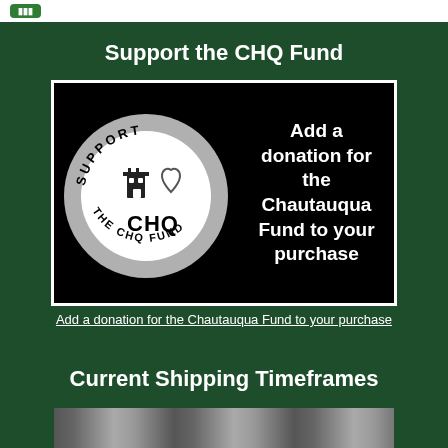[Figure (logo): Small green button in top white bar]
Support the CHQ Fund
[Figure (illustration): Black background image with circular CHQ Support badge (gray circle with SUPPORT CHQ THE CHQ FUND text and building/heart icons) on left, and white bold text on right reading: Add a donation for the Chautauqua Fund to your purchase]
Add a donation for the Chautauqua Fund to your purchase
Current Shipping Timeframes
[Figure (photo): Partial photo at bottom of page, content partially visible]